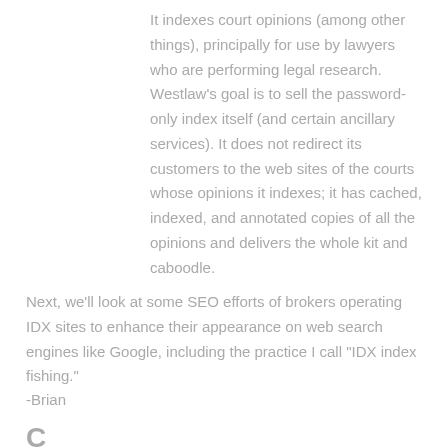It indexes court opinions (among other things), principally for use by lawyers who are performing legal research. Westlaw’s goal is to sell the password-only index itself (and certain ancillary services). It does not redirect its customers to the web sites of the courts whose opinions it indexes; it has cached, indexed, and annotated copies of all the opinions and delivers the whole kit and caboodle.
Next, we’ll look at some SEO efforts of brokers operating IDX sites to enhance their appearance on web search engines like Google, including the practice I call “IDX index fishing.”
-Brian
C